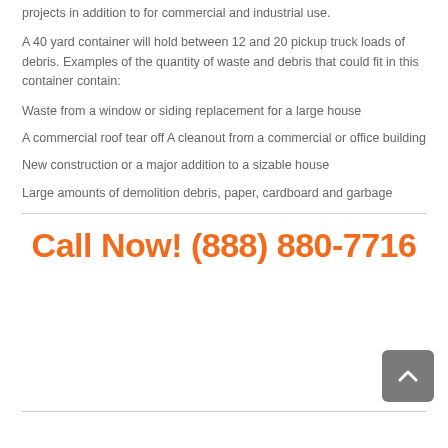projects in addition to for commercial and industrial use.
A 40 yard container will hold between 12 and 20 pickup truck loads of debris. Examples of the quantity of waste and debris that could fit in this container contain:
Waste from a window or siding replacement for a large house
A commercial roof tear off A cleanout from a commercial or office building
New construction or a major addition to a sizable house
Large amounts of demolition debris, paper, cardboard and garbage
Call Now! (888) 880-7716